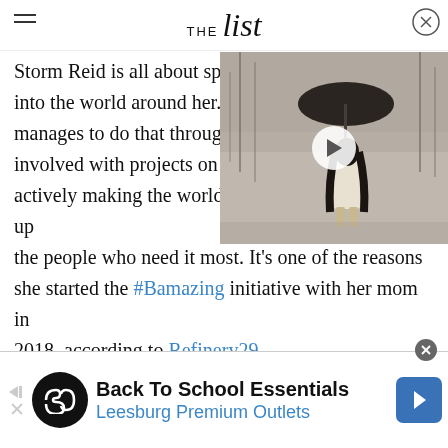THE List
Storm Reid is all about spreading positivity into the world around her. W... manages to do that through being involved with projects on the... actively making the world a better place by lifting up the people who need it most. It's one of the reasons she started the #Bamazing initiative with her mom in 2018, according to Refinery29.
[Figure (photo): Video thumbnail showing a woman with long dark hair standing under an umbrella in a misty outdoor setting, with a white play button overlay.]
[Figure (infographic): Advertisement banner for Back To School Essentials at Leesburg Premium Outlets with circular logo, text, and navigation arrow icon.]